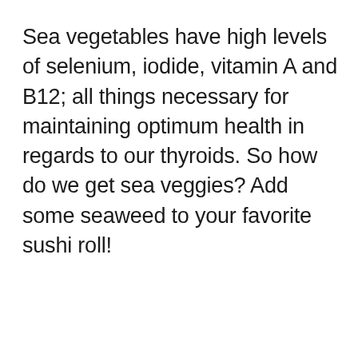Sea vegetables have high levels of selenium, iodide, vitamin A and B12; all things necessary for maintaining optimum health in regards to our thyroids. So how do we get sea veggies? Add some seaweed to your favorite sushi roll!